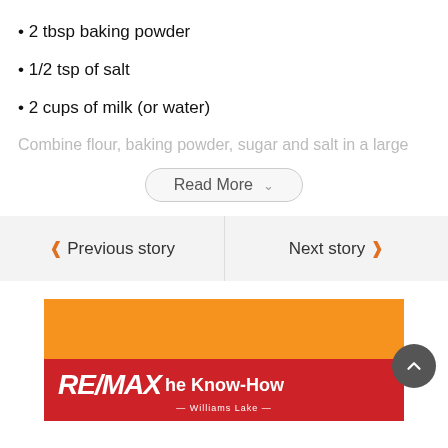• 2 tbsp baking powder
• 1/2 tsp of salt
• 2 cups of milk (or water)
Combine flour, baking powder, sugar and salt in a large
Read More
Previous story
Next story
[Figure (logo): RE/MAX Williams Lake - The Know-How advertisement banner with orange top section and red bottom section featuring RE/MAX logo and 'The Know-How' tagline]